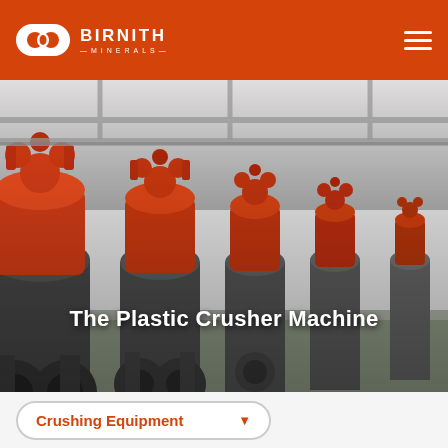BIRNITH MINERALS
[Figure (photo): Industrial manufacturing floor with rows of red and grey heavy crusher machines (cone crushers) lined up in a large factory/warehouse setting.]
The Plastic Crusher Machine
Crushing Equipment